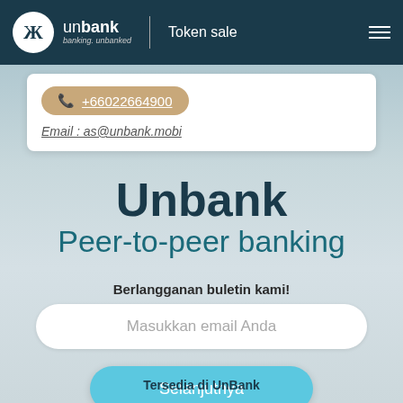unbank banking. unbanked | Token sale
+66022664900
Email : as@unbank.mobi
Unbank
Peer-to-peer banking
Berlangganan buletin kami!
Masukkan email Anda
Selanjutnya
Tersedia di UnBank